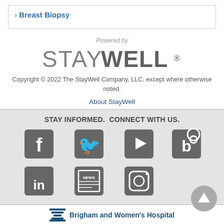› Breast Biopsy
Powered by
[Figure (logo): StayWell logo in gray bold text]
Copyright © 2022 The StayWell Company, LLC. except where otherwise noted.
About StayWell
STAY INFORMED.  CONNECT WITH US.
[Figure (illustration): Social media icons: Facebook, Twitter, YouTube, Blog (RSS), LinkedIn, News, Instagram in gray rounded squares]
[Figure (logo): Brigham and Women's Hospital logo at bottom]